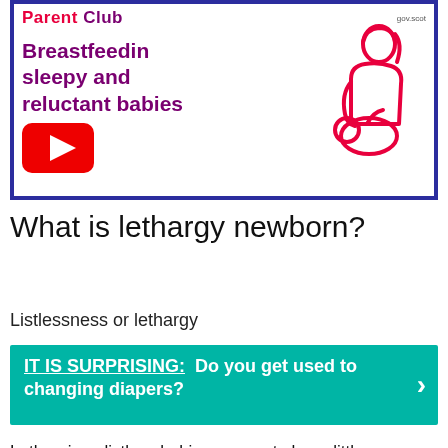[Figure (screenshot): Parent Club video thumbnail showing breastfeeding sleepy and reluctant babies with YouTube play button and icon of mother nursing baby, blue border, gov.scot logo]
What is lethargy newborn?
Listlessness or lethargy
IT IS SURPRISING:  Do you get used to changing diapers?
Lethargic or listless babies appear to have little or no energy. They are drowsy or sluggish. They may also have low muscle tone,